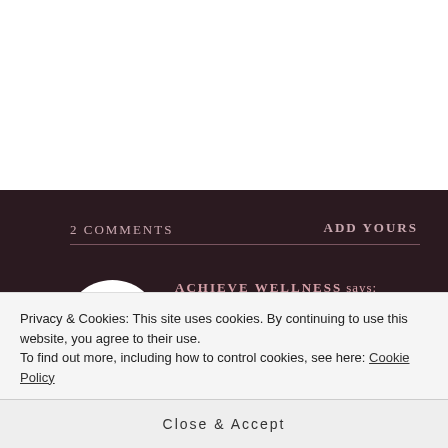2 Comments
ADD YOURS
ACHIEVE WELLNESS says: ↩ Reply
May 26, 2016 at 22:46
Privacy & Cookies: This site uses cookies. By continuing to use this website, you agree to their use.
To find out more, including how to control cookies, see here: Cookie Policy
Close & Accept